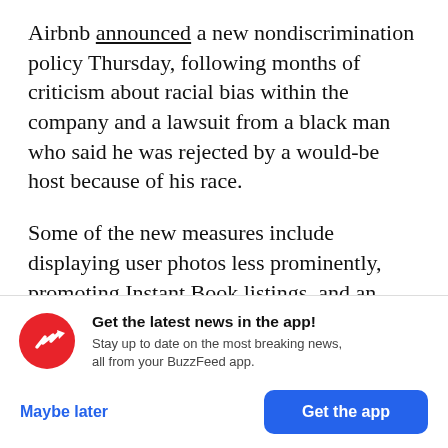Airbnb announced a new nondiscrimination policy Thursday, following months of criticism about racial bias within the company and a lawsuit from a black man who said he was rejected by a would-be host because of his race.
Some of the new measures include displaying user photos less prominently, promoting Instant Book listings, and an "Open Doors" policy to ensure guests who cannot book a listing because of
[Figure (logo): BuzzFeed app promotion banner with red circular BuzzFeed logo (white trending arrow), bold text 'Get the latest news in the app!', subtext 'Stay up to date on the most breaking news, all from your BuzzFeed app.', a 'Maybe later' blue text button and a blue 'Get the app' button.]